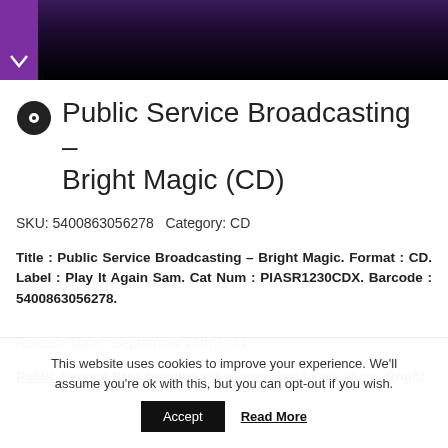[Figure (photo): Dark header image with purple sidebar and down-arrow icon]
Public Service Broadcasting – Bright Magic (CD)
SKU: 5400863056278 Category: CD
Title : Public Service Broadcasting – Bright Magic. Format : CD. Label : Play It Again Sam. Cat Num : PIASR1230CDX. Barcode : 5400863056278.
Release Date : September 24th 2021
Public Service Broadcasting will release their fourth album, Bright
This website uses cookies to improve your experience. We'll assume you're ok with this, but you can opt-out if you wish.